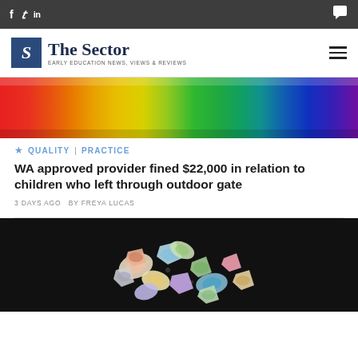The Sector — EARLY EDUCATION NEWS, VIEWS & REVIEWS
[Figure (photo): Rainbow-colored vertical pencils or striped gradient background filling the width of the page]
QUALITY | PRACTICE
WA approved provider fined $22,000 in relation to children who left through outdoor gate
3 DAYS AGO  BY FREYA LUCAS
[Figure (photo): Colorful painted stone or glass pieces arranged on a dark/black background, various irregular shapes with colorful painted designs]